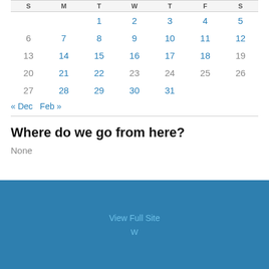| S | M | T | W | T | F | S |
| --- | --- | --- | --- | --- | --- | --- |
|  |  | 1 | 2 | 3 | 4 | 5 |
| 6 | 7 | 8 | 9 | 10 | 11 | 12 |
| 13 | 14 | 15 | 16 | 17 | 18 | 19 |
| 20 | 21 | 22 | 23 | 24 | 25 | 26 |
| 27 | 28 | 29 | 30 | 31 |  |  |
« Dec   Feb »
Where do we go from here?
None
View Full Site